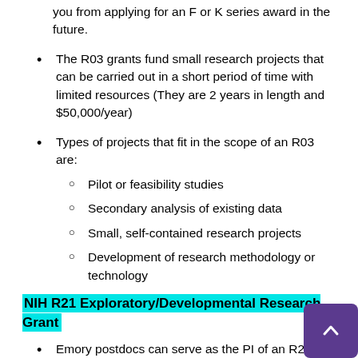you from applying for an F or K series award in the future.
The R03 grants fund small research projects that can be carried out in a short period of time with limited resources (They are 2 years in length and $50,000/year)
Types of projects that fit in the scope of an R03 are:
Pilot or feasibility studies
Secondary analysis of existing data
Small, self-contained research projects
Development of research methodology or technology
NIH R21 Exploratory/Developmental Research Grant
Emory postdocs can serve as the PI of an R21 grant but successful funding of the R21 could disqualify